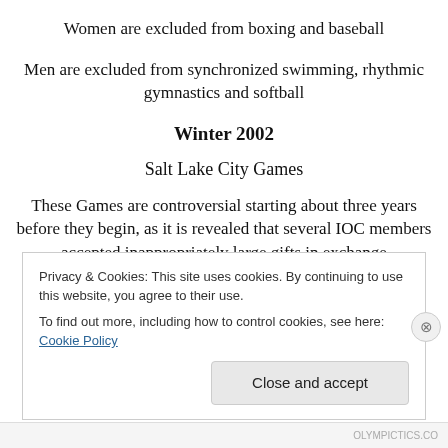Women are excluded from boxing and baseball
Men are excluded from synchronized swimming, rhythmic gymnastics and softball
Winter 2002
Salt Lake City Games
These Games are controversial starting about three years before they begin, as it is revealed that several IOC members accepted inappropriately large gifts in exchange
Privacy & Cookies: This site uses cookies. By continuing to use this website, you agree to their use.
To find out more, including how to control cookies, see here: Cookie Policy
Close and accept